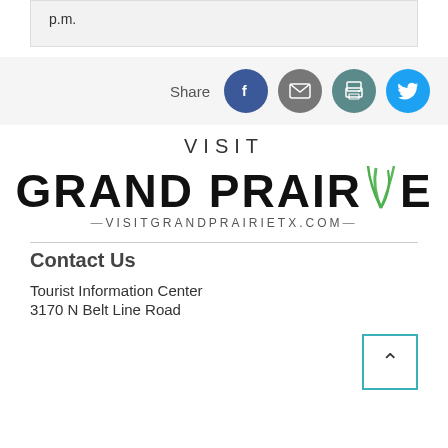p.m.
[Figure (logo): Share buttons bar with Facebook, email, print, and Twitter icons]
[Figure (logo): Visit Grand Prairie logo with VISITGRANDPRAIRIETX.COM text]
Contact Us
Tourist Information Center
3170 N Belt Line Road